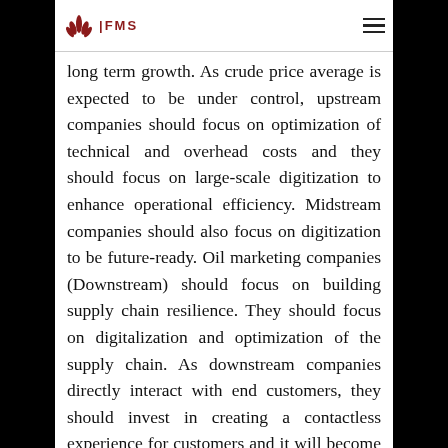FMS
long term growth. As crude price average is expected to be under control, upstream companies should focus on optimization of technical and overhead costs and they should focus on large-scale digitization to enhance operational efficiency. Midstream companies should also focus on digitization to be future-ready. Oil marketing companies (Downstream) should focus on building supply chain resilience. They should focus on digitalization and optimization of the supply chain. As downstream companies directly interact with end customers, they should invest in creating a contactless experience for customers and it will become the norm post-pandemic. To recover and grow in the long-term, every company in Oil & Gas